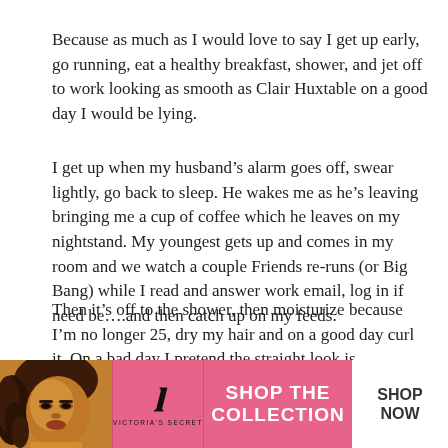Because as much as I would love to say I get up early, go running, eat a healthy breakfast, shower, and jet off to work looking as smooth as Clair Huxtable on a good day I would be lying.
I get up when my husband's alarm goes off, swear lightly, go back to sleep. He wakes me as he's leaving bringing me a cup of coffee which he leaves on my nightstand. My youngest gets up and comes in my room and we watch a couple Friends re-runs (or Big Bang) while I read and answer work email, log in if need be….and then catch up on my feeds.
Then it's off to the shower, then moisturize because I'm no longer 25, dry my hair and on a good day curl it. On a bad day I pretend the straight look is intentional and I want to look like an auburn haired middle aged Marcia Brady. Then make-up, say good bye to everyone still home human and fur baby, and swear again because I meant to leave earlier and enjoy a relaxi... most of the w...
[Figure (other): Victoria's Secret advertisement banner at the bottom of the page showing a woman's face, Victoria's Secret logo, 'SHOP THE COLLECTION' text, and a 'SHOP NOW' button. A 'CLOSE' button overlay is visible on the right side of the main text above the ad.]